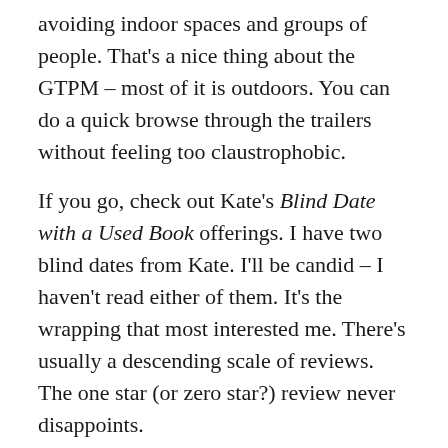avoiding indoor spaces and groups of people. That's a nice thing about the GTPM – most of it is outdoors. You can do a quick browse through the trailers without feeling too claustrophobic.
If you go, check out Kate's Blind Date with a Used Book offerings. I have two blind dates from Kate. I'll be candid – I haven't read either of them. It's the wrapping that most interested me. There's usually a descending scale of reviews. The one star (or zero star?) review never disappoints.
Kate Berwanger's Blind Dates. Sitting next to my Portable Dorothy Parker. Seattle, 2020. ("We read it in our book club + only one person liked it."